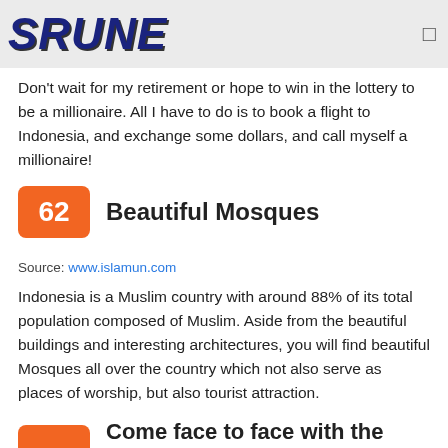SRUNE
Don't wait for my retirement or hope to win in the lottery to be a millionaire. All I have to do is to book a flight to Indonesia, and exchange some dollars, and call myself a millionaire!
62 Beautiful Mosques
Source: www.islamun.com
Indonesia is a Muslim country with around 88% of its total population composed of Muslim. Aside from the beautiful buildings and interesting architectures, you will find beautiful Mosques all over the country which not also serve as places of worship, but also tourist attraction.
Come face to face with the dead: